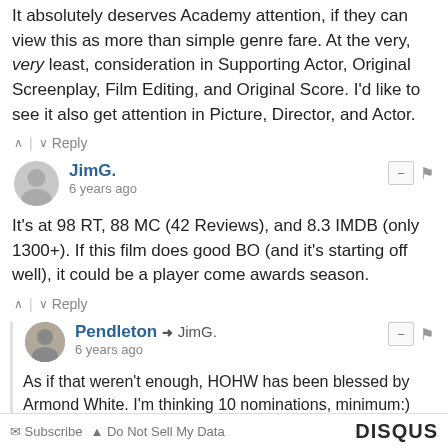It absolutely deserves Academy attention, if they can view this as more than simple genre fare. At the very, very least, consideration in Supporting Actor, Original Screenplay, Film Editing, and Original Score. I'd like to see it also get attention in Picture, Director, and Actor.
JimG. • 6 years ago
It's at 98 RT, 88 MC (42 Reviews), and 8.3 IMDB (only 1300+). If this film does good BO (and it's starting off well), it could be a player come awards season.
Pendleton → JimG. • 6 years ago
As if that weren't enough, HOHW has been blessed by Armond White. I'm thinking 10 nominations, minimum:)
Subscribe • Do Not Sell My Data   DISQUS